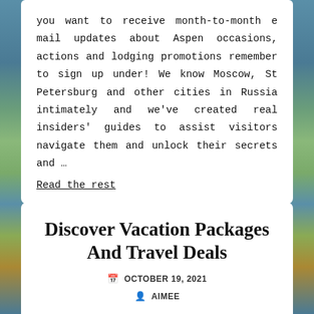you want to receive month-to-month e mail updates about Aspen occasions, actions and lodging promotions remember to sign up under! We know Moscow, St Petersburg and other cities in Russia intimately and we've created real insiders' guides to assist visitors navigate them and unlock their secrets and …
Read the rest
Discover Vacation Packages And Travel Deals
OCTOBER 19, 2021
AIMEE